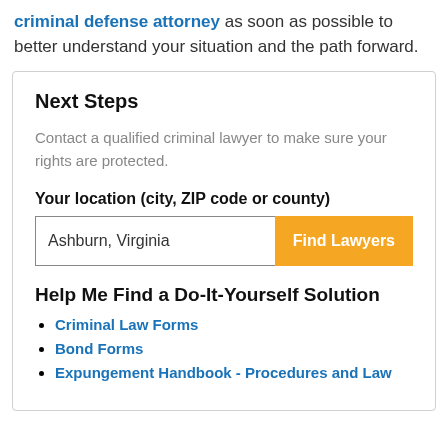criminal defense attorney as soon as possible to better understand your situation and the path forward.
Next Steps
Contact a qualified criminal lawyer to make sure your rights are protected.
Your location (city, ZIP code or county)
Ashburn, Virginia
Help Me Find a Do-It-Yourself Solution
Criminal Law Forms
Bond Forms
Expungement Handbook - Procedures and Law